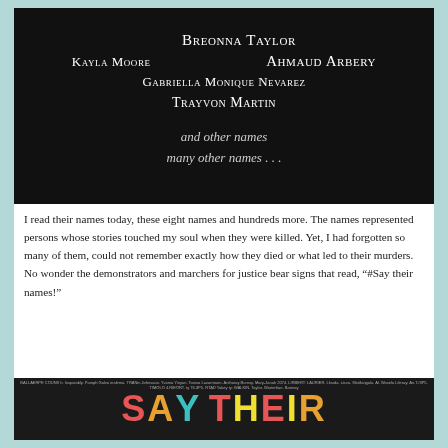[Figure (illustration): Dark black background image with names of victims written in white serif text at varying sizes: partial name at top, Breonna Taylor, Kayla Moore, Ahmaud Arbery, Gabriella Monique Nevarez, Trayvon Martin, and other names, many other names ...]
I read their names today, these eight names and hundreds more. The names represented persons whose stories touched my soul when they were killed. Yet, I had forgotten so many of them, could not remember exactly how they died or what led to their murders. No wonder the demonstrators and marchers for justice bear signs that read, “#Say their names!”
[Figure (infographic): Colorful typographic image with 'SAY THEIR' spelled out in large colorful letters (red, orange, teal, yellow) made of smaller names text on a dark background, with many names written in small text overlapping around the letters.]